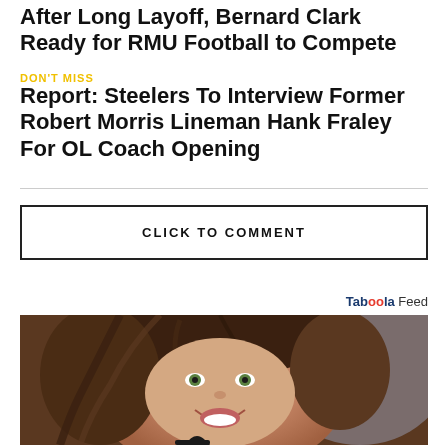After Long Layoff, Bernard Clark Ready for RMU Football to Compete
DON'T MISS
Report: Steelers To Interview Former Robert Morris Lineman Hank Fraley For OL Coach Opening
CLICK TO COMMENT
Taboola Feed
[Figure (photo): Smiling woman with long brown hair, laughing, wearing a black top]